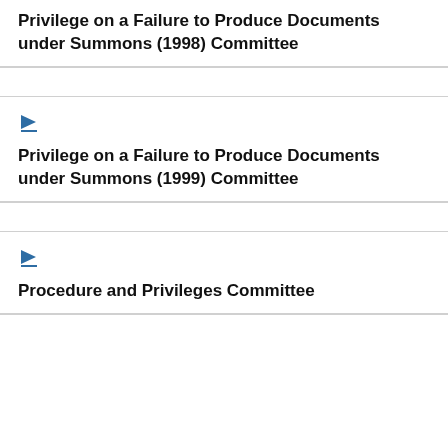Privilege on a Failure to Produce Documents under Summons (1998) Committee
[Figure (illustration): Blue right-pointing arrow icon with underline]
Privilege on a Failure to Produce Documents under Summons (1999) Committee
[Figure (illustration): Blue right-pointing arrow icon with underline]
Procedure and Privileges Committee